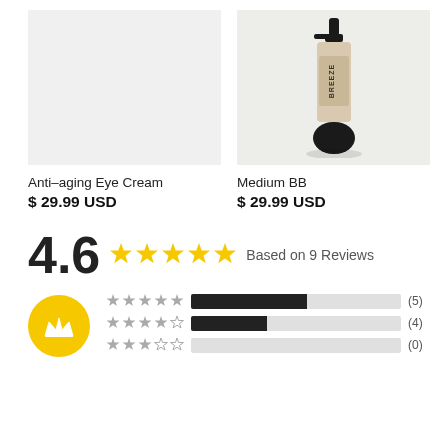[Figure (photo): Light gray placeholder box for Anti-aging Eye Cream product image]
[Figure (photo): Photo of a BREEZE branded BB cream bottle with pump dispenser on a light beige background]
Anti-aging Eye Cream
$ 29.99 USD
Medium BB
$ 29.99 USD
4.6 ★★★★★ Based on 9 Reviews
★★★★★ (5)
★★★★☆ (4)
★★★☆☆ (0)